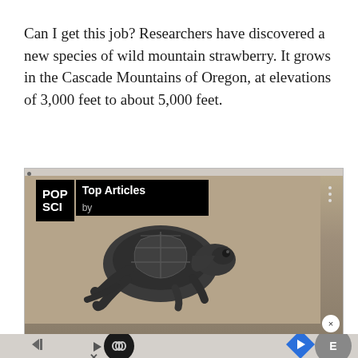Can I get this job? Researchers have discovered a new species of wild mountain strawberry. It grows in the Cascade Mountains of Oregon, at elevations of 3,000 feet to about 5,000 feet.
[Figure (screenshot): A media player overlay showing a small baby turtle crawling on sand, with a 'POP SCI Top Articles by' badge in the upper left corner, three-dot menu on the right, and a progress bar at the top. Below the player are media control icons including skip-back, an infinity loop button, a navigation arrow, and a close/dismiss button.]